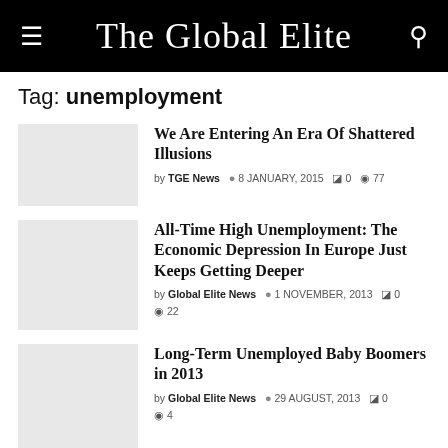The Global Elite
Tag: unemployment
We Are Entering An Era Of Shattered Illusions — by TGE News, 8 JANUARY, 2015, 0 comments, 77 views
All-Time High Unemployment: The Economic Depression In Europe Just Keeps Getting Deeper — by Global Elite News, 1 NOVEMBER, 2013, 0 comments, 22 views
Long-Term Unemployed Baby Boomers in 2013 — by Global Elite News, 29 AUGUST, 2013, 0 comments, 4 views